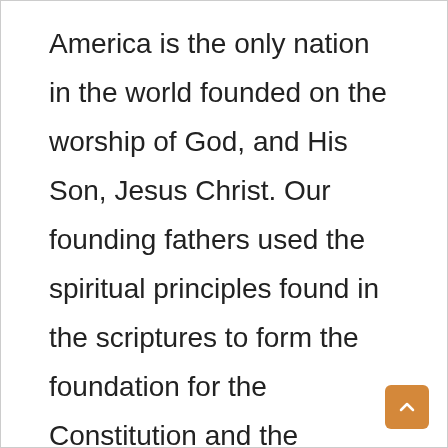America is the only nation in the world founded on the worship of God, and His Son, Jesus Christ. Our founding fathers used the spiritual principles found in the scriptures to form the foundation for the Constitution and the Declaration of Independence.

Let's stand up and BE BOLD – no longer should the Church be a “silent majority.” Let our voice be heard to change the world.